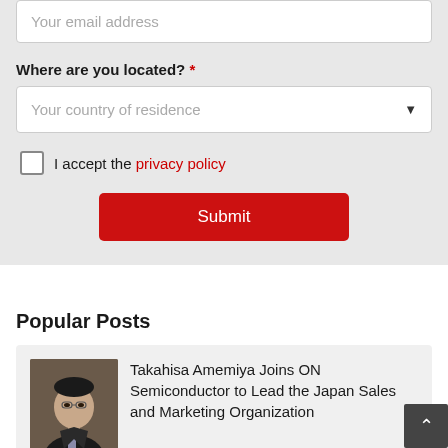Your email address
Where are you located? *
Your country of residence
I accept the privacy policy
Submit
Popular Posts
Takahisa Amemiya Joins ON Semiconductor to Lead the Japan Sales and Marketing Organization